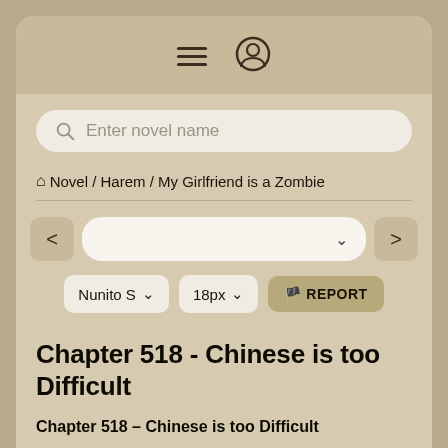≡ (menu) ⊙ (user icon)
Enter novel name
🏠 Novel / Harem / My Girlfriend is a Zombie
< [chapter dropdown] >
Nunito S ∨   18px ∨   🚩 REPORT
Chapter 518 - Chinese is too Difficult
Chapter 518 – Chinese is too Difficult
Translator & Editor: Zephyr04